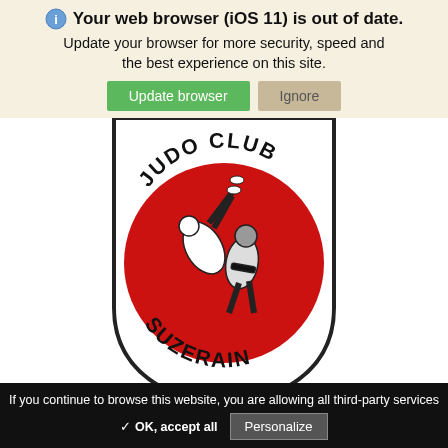Your web browser (iOS 11) is out of date.
Update your browser for more security, speed and the best experience on this site.
[Figure (logo): Judo Club Suzerain shield logo with red circle containing judo throw illustration and text JUDO CLUB around top and SUZERAIN around bottom]
If you continue to browse this website, you are allowing all third-party services
✓ OK, accept all